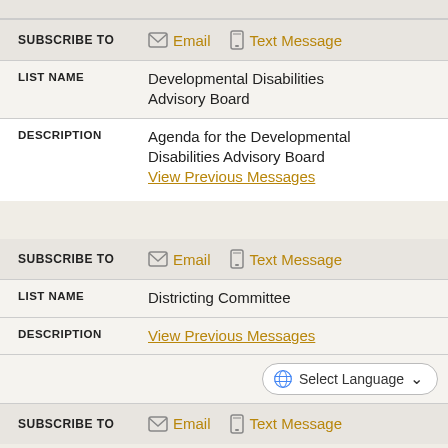| SUBSCRIBE TO | Email / Text Message |
| --- | --- |
| SUBSCRIBE TO | Email | Text Message |
| LIST NAME | Developmental Disabilities Advisory Board |
| DESCRIPTION | Agenda for the Developmental Disabilities Advisory Board
View Previous Messages |
| SUBSCRIBE TO | Email / Text Message |
| --- | --- |
| SUBSCRIBE TO | Email | Text Message |
| LIST NAME | Districting Committee |
| DESCRIPTION | View Previous Messages |
Select Language
| SUBSCRIBE TO | Email / Text Message |
| --- | --- |
| SUBSCRIBE TO | Email | Text Message |